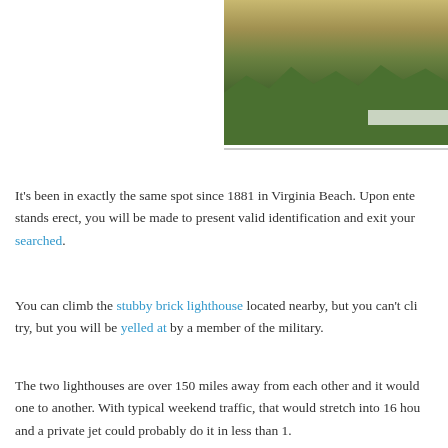[Figure (photo): Aerial or elevated photo showing trees and a white fence near a building, cropped at top right of page]
It's been in exactly the same spot since 1881 in Virginia Beach. Upon entering the area where it stands erect, you will be made to present valid identification and exit your vehicle to be searched.
You can climb the stubby brick lighthouse located nearby, but you can't climb this one. If you try, but you will be yelled at by a member of the military.
The two lighthouses are over 150 miles away from each other and it would take about 3 hours from one to another. With typical weekend traffic, that would stretch into 16 hours. A helicopter and a private jet could probably do it in less than 1.